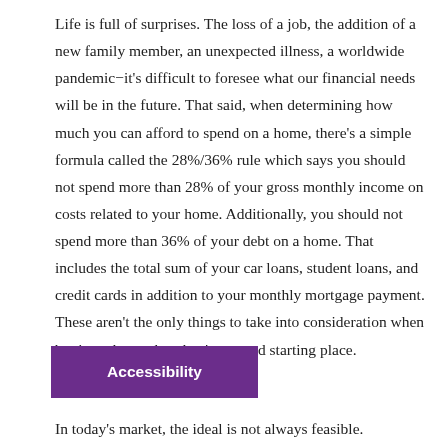Life is full of surprises. The loss of a job, the addition of a new family member, an unexpected illness, a worldwide pandemic−it's difficult to foresee what our financial needs will be in the future. That said, when determining how much you can afford to spend on a home, there's a simple formula called the 28%/36% rule which says you should not spend more than 28% of your gross monthly income on costs related to your home. Additionally, you should not spend more than 36% of your debt on a home. That includes the total sum of your car loans, student loans, and credit cards in addition to your monthly mortgage payment. These aren't the only things to take into consideration when buying a home, but they're a good starting place.
[Figure (other): Accessibility button – a purple button labeled 'Accessibility' with a purple border overlay, positioned over text]
In today's market, the ideal is not always feasible.